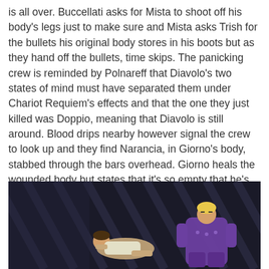is all over. Buccellati asks for Mista to shoot off his body's legs just to make sure and Mista asks Trish for the bullets his original body stores in his boots but as they hand off the bullets, time skips. The panicking crew is reminded by Polnareff that Diavolo's two states of mind must have separated them under Chariot Requiem's effects and that the one they just killed was Doppio, meaning that Diavolo is still around. Blood drips nearby however signal the crew to look up and they find Narancia, in Giorno's body, stabbed through the bars overhead. Giorno heals the wounded body but states that it's so empty that he's beginning to take his place back into his body while Narancia passes away properly in his own body. Diavolo was once again able to assassinate one of their own with an ability that would be able to locate him.
[Figure (screenshot): Dark anime screenshot showing two characters, one lying down in the center-left area and another in purple clothing on the right, with diagonal bar/grid lines in the dark background.]